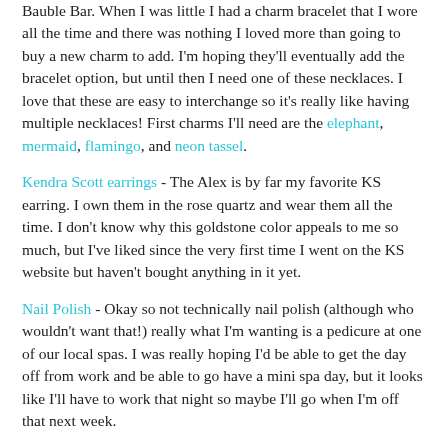Bauble Bar. When I was little I had a charm bracelet that I wore all the time and there was nothing I loved more than going to buy a new charm to add. I'm hoping they'll eventually add the bracelet option, but until then I need one of these necklaces. I love that these are easy to interchange so it's really like having multiple necklaces! First charms I'll need are the elephant, mermaid, flamingo, and neon tassel.
Kendra Scott earrings - The Alex is by far my favorite KS earring. I own them in the rose quartz and wear them all the time. I don't know why this goldstone color appeals to me so much, but I've liked since the very first time I went on the KS website but haven't bought anything in it yet.
Nail Polish - Okay so not technically nail polish (although who wouldn't want that!) really what I'm wanting is a pedicure at one of our local spas. I was really hoping I'd be able to get the day off from work and be able to go have a mini spa day, but it looks like I'll have to work that night so maybe I'll go when I'm off that next week.
MAC lipstick - Y'all already know how much I love MAC lipstick. A girl can never have too many tubes of it and I'm in